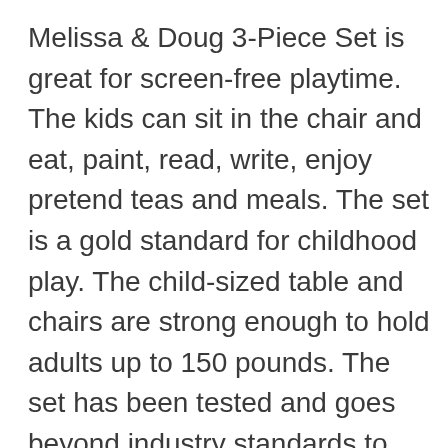Melissa & Doug 3-Piece Set is great for screen-free playtime. The kids can sit in the chair and eat, paint, read, write, enjoy pretend teas and meals. The set is a gold standard for childhood play. The child-sized table and chairs are strong enough to hold adults up to 150 pounds. The set has been tested and goes beyond industry standards to ensure durability and safety. The hardwood table and chairs are durable and sturdy. The three wooden pieces can be put together by using a screwdriver. It is an ideal space for the children to eat their meals. They can even share a game with the sibling or